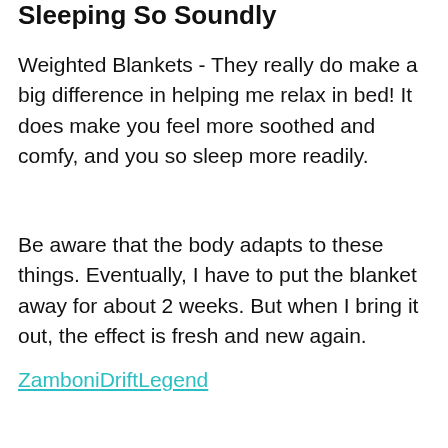Sleeping So Soundly
Weighted Blankets - They really do make a big difference in helping me relax in bed! It does make you feel more soothed and comfy, and you so sleep more readily.
Be aware that the body adapts to these things. Eventually, I have to put the blanket away for about 2 weeks. But when I bring it out, the effect is fresh and new again.
ZamboniDriftLegend